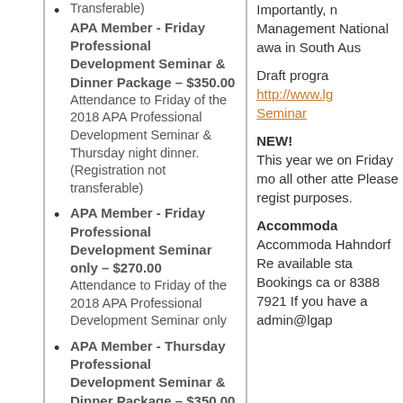APA Member - Friday Professional Development Seminar & Dinner Package – $350.00: Attendance to Friday of the 2018 APA Professional Development Seminar & Thursday night dinner. (Registration not transferable)
APA Member - Friday Professional Development Seminar only – $270.00: Attendance to Friday of the 2018 APA Professional Development Seminar only
APA Member - Thursday Professional Development Seminar & Dinner Package – $350.00: Attendance to Thursday of the 2018 APA Professional Development Seminar & Thursday night dinner (Registration not transferable)
Importantly, n Management National awa in South Aus
Draft progra http://www.lg Seminar
NEW! This year we on Friday mo all other atte Please regist purposes.
Accommoda Accommoda Hahndorf Re available sta Bookings ca or 8388 7921 If you have a admin@lgap